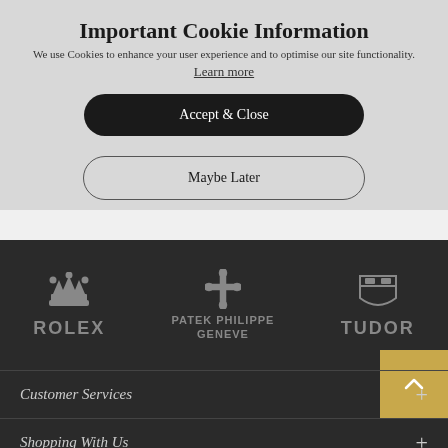Important Cookie Information
We use Cookies to enhance your user experience and to optimise our site functionality.
Learn more
Accept & Close
Maybe Later
[Figure (logo): Rolex crown logo with ROLEX text in grey]
[Figure (logo): Patek Philippe Geneve logo with cross symbol in grey]
[Figure (logo): Tudor shield logo with TUDOR text in grey]
Customer Services
Shopping With Us